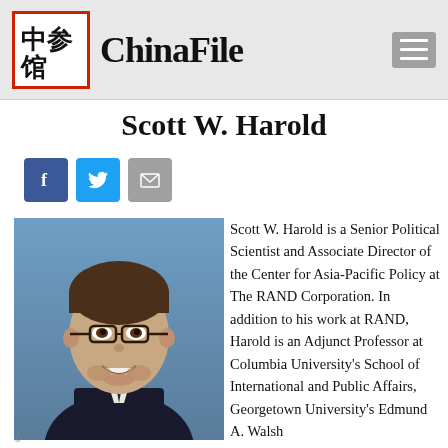ChinaFile
Scott W. Harold
[Figure (photo): Profile photo of Scott W. Harold, a smiling man with glasses wearing a dark suit]
Scott W. Harold is a Senior Political Scientist and Associate Director of the Center for Asia-Pacific Policy at The RAND Corporation. In addition to his work at RAND, Harold is an Adjunct Professor at Columbia University's School of International and Public Affairs, Georgetown University's Edmund A. Walsh